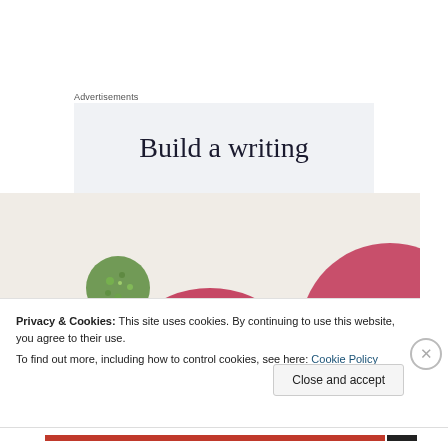Advertisements
[Figure (other): Advertisement banner showing partial text 'Build a writing' on a light gray background]
[Figure (photo): Close-up photo showing large pink/magenta circles and a small green glittery circle on a light background]
Privacy & Cookies: This site uses cookies. By continuing to use this website, you agree to their use.
To find out more, including how to control cookies, see here: Cookie Policy
Close and accept